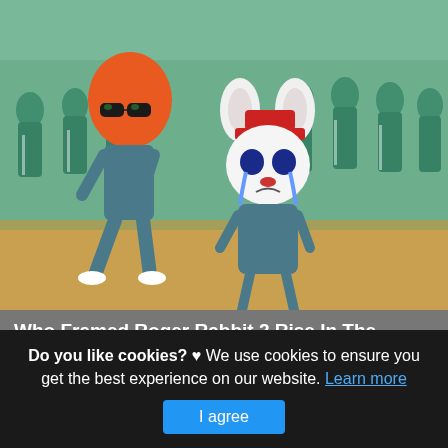[Figure (illustration): Cartoon/animated characters (a tall figure with orange hair and sunglasses, and a small white mouse/rabbit character with a red hat, both in teal outfits) overlaid on a real photo background of many people in teal tracksuits, resembling Squid Game contestants.]
Who Framed Roger Rabbit 2 Rise In The Crossover
This is actually a write-up or even photo around the Who Framed Roger Rabbit 2 Rise In The Crossover Mobile Legends, if you wish much a lot extra details around the write-up or even photo satisfy click on or even go to the
Do you like cookies? ♥ We use cookies to ensure you get the best experience on our website. Learn more
I agree